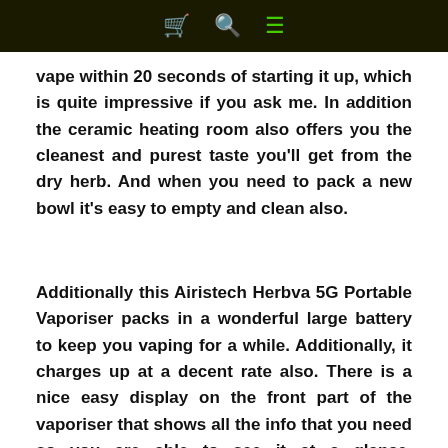[cart icon] [search icon] [menu icon]
vape within 20 seconds of starting it up, which is quite impressive if you ask me. In addition the ceramic heating room also offers you the cleanest and purest taste you'll get from the dry herb. And when you need to pack a new bowl it's easy to empty and clean also.
Additionally this Airistech Herbva 5G Portable Vaporiser packs in a wonderful large battery to keep you vaping for a while. Additionally, it charges up at a decent rate also. There is a nice easy display on the front part of the vaporiser that shows all the info that you need so you are able to see it at a glance. Additionally, it is easy to control with its easy 1 button functionality, which means that you'll spend